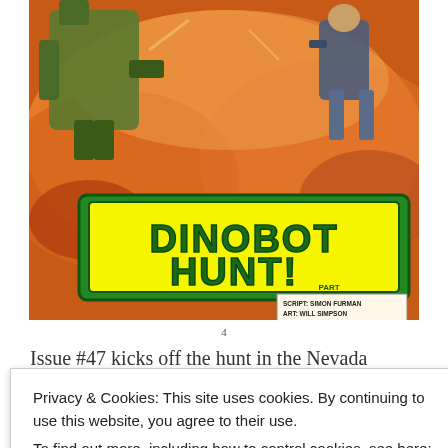[Figure (illustration): Comic book cover splash panel for 'Dinobot Hunt! Part One' — action scene showing military figures amid explosion in an orange desert landscape. Credits box: Script: Simon Furman, Art: Will Simpson, Colours: Stuart Place, Letters: Annie Halfacree, Editor: Ian Rimmer.]
Issue #47 kicks off the hunt in the Nevada Black Rock desert where three human soldiers venture into a
Privacy & Cookies: This site uses cookies. By continuing to use this website, you agree to their use.
To find out more, including how to control cookies, see here: Cookie Policy
Close and accept